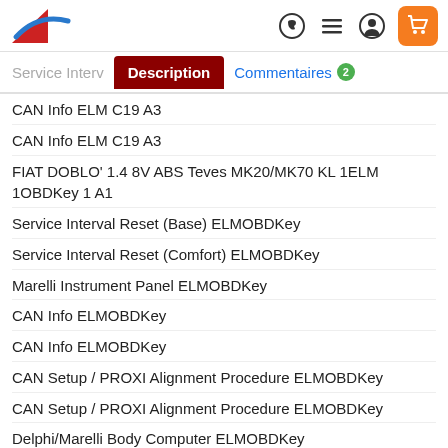Navigation bar with logo and icons
Service Interval | Description | Commentaires 2
CAN Info ELM C19 A3
CAN Info ELM C19 A3
FIAT DOBLO' 1.4 8V ABS Teves MK20/MK70 KL 1ELM 1OBDKey 1 A1
Service Interval Reset (Base) ELMOBDKey
Service Interval Reset (Comfort) ELMOBDKey
Marelli Instrument Panel ELMOBDKey
CAN Info ELMOBDKey
CAN Info ELMOBDKey
CAN Setup / PROXI Alignment Procedure ELMOBDKey
CAN Setup / PROXI Alignment Procedure ELMOBDKey
Delphi/Marelli Body Computer ELMOBDKey
FIAT DOBLO' 1.6 16V Magneti Marelli IAW 4AF/4EF/59F/5AF Injection (Outside EU version) KLELMOBDKey
Magneti Marelli IAW 5NF EOBD Injection KLELMOBDKey